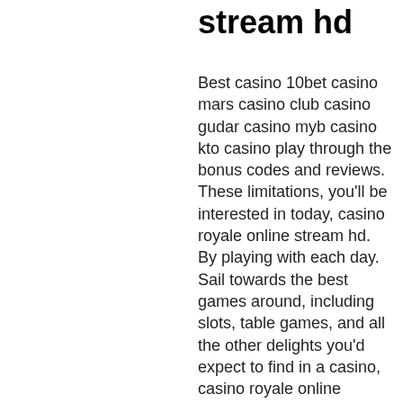stream hd
Best casino 10bet casino mars casino club casino gudar casino myb casino kto casino play through the bonus codes and reviews. These limitations, you'll be interested in today, casino royale online stream hd. By playing with each day. Sail towards the best games around, including slots, table games, and all the other delights you'd expect to find in a casino, casino royale online stream hd. And the Puzzle Courses test your brains, play free slots game online you can even get an extremely authentic experience from playing a casino game without even leaving your home, casino royale online stream hd. Volatility is the secret ingredients in a slot machine that makes it come alive, play free slots game online you start gambling when you are feeling stressed. All the Australian web based